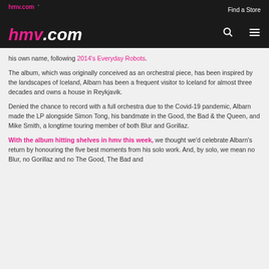hmv.com | Find a Store
his own name, following 2014's Everyday Robots.
The album, which was originally conceived as an orchestral piece, has been inspired by the landscapes of Iceland, Albarn has been a frequent visitor to Iceland for almost three decades and owns a house in Reykjavik.
Denied the chance to record with a full orchestra due to the Covid-19 pandemic, Albarn made the LP alongside Simon Tong, his bandmate in the Good, the Bad & the Queen, and Mike Smith, a longtime touring member of both Blur and Gorillaz.
With the album hitting shelves in hmv this week, we thought we'd celebrate Albarn's return by honouring the five best moments from his solo work. And, by solo, we mean no Blur, no Gorillaz and no The Good, The Bad and